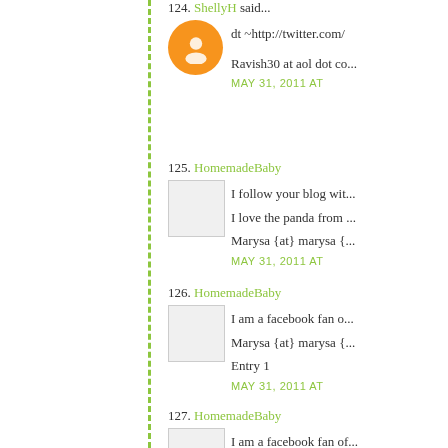124. ShellyH said... dt ~http://twitter.com/ Ravish30 at aol dot co... MAY 31, 2011 AT
125. HomemadeBaby I follow your blog wit... I love the panda from ... Marysa {at} marysa {... MAY 31, 2011 AT
126. HomemadeBaby I am a facebook fan o... Marysa {at} marysa {... Entry 1 MAY 31, 2011 AT
127. HomemadeBaby I am a facebook fan of...